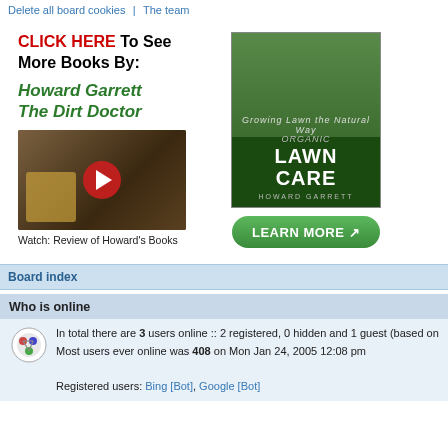Delete all board cookies | The team
[Figure (infographic): Advertisement for Howard Garrett The Dirt Doctor books, featuring a video thumbnail of a man reviewing books and a book cover for Organic Lawn Care with a Learn More button]
Board index
Who is online
In total there are 3 users online :: 2 registered, 0 hidden and 1 guest (based on Most users ever online was 408 on Mon Jan 24, 2005 12:08 pm
Registered users: Bing [Bot], Google [Bot]